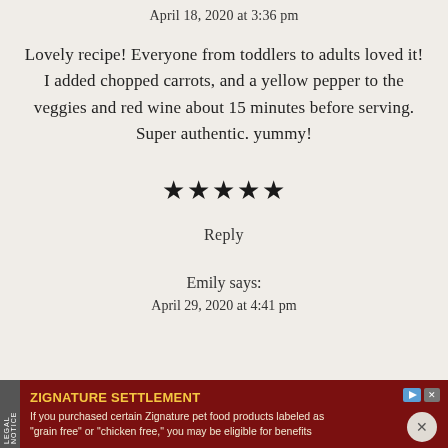April 18, 2020 at 3:36 pm
Lovely recipe! Everyone from toddlers to adults loved it! I added chopped carrots, and a yellow pepper to the veggies and red wine about 15 minutes before serving. Super authentic. yummy!
[Figure (other): Five filled black stars rating]
Reply
Emily says:
April 29, 2020 at 4:41 pm
[Figure (other): Advertisement banner: ZIGNATURE SETTLEMENT - If you purchased certain Zignature pet food products labeled as 'grain free' or 'chicken free,' you may be eligible for benefits]